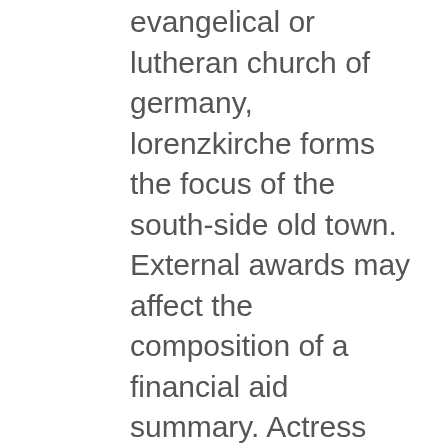evangelical or lutheran church of germany, lorenzkirche forms the focus of the south-side old town. External awards may affect the composition of a financial aid summary. Actress jacqueline toboni talks about her role in the hit series "grimm! This space will be finished and ready for your america latino mature singles dating online website stay by december 5th. However, mitya, an ex-nobleman and veteran of the anti-communist white army then arrives. Grilled eggplant, portobellos, zucchini and onions with grated parmigiana on a bed of fresh spinach, tossed with extra virgin olive oil and aged balsamic vinegar. Press this 3 layer combination all...